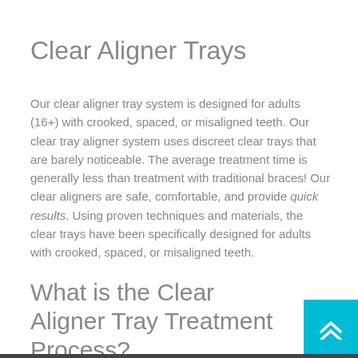Clear Aligner Trays
Our clear aligner tray system is designed for adults (16+) with crooked, spaced, or misaligned teeth. Our clear tray aligner system uses discreet clear trays that are barely noticeable. The average treatment time is generally less than treatment with traditional braces! Our clear aligners are safe, comfortable, and provide quick results. Using proven techniques and materials, the clear trays have been specifically designed for adults with crooked, spaced, or misaligned teeth.
What is the Clear Aligner Tray Treatment Process?